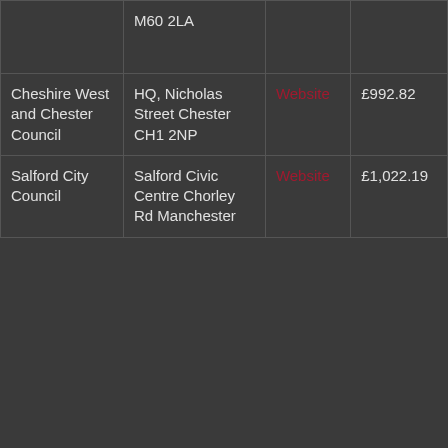| Organisation | Address | Website | Amount |  |
| --- | --- | --- | --- | --- |
|  | M60 2LA |  |  |  |
| Cheshire West and Chester Council | HQ, Nicholas Street Chester CH1 2NP | Website | £992.82 |  |
| Salford City Council | Salford Civic Centre Chorley Rd Manchester... | Website | £1,022.19 |  |
We use cookies and other tracking technologies to improve your browsing experience on our website, to show you personalized content and targeted ads, to analyze our website traffic, and to understand where our visitors are coming from.